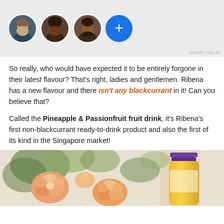[Figure (screenshot): Ad banner with three circular profile photos of people and a blue circle with a plus sign. Small 'REPORT THIS AD' text at bottom right.]
So really, who would have expected it to be entirely forgone in their latest flavour? That's right, ladies and gentlemen. Ribena has a new flavour and there isn't any blackcurrant in it! Can you believe that?
Called the Pineapple & Passionfruit fruit drink, it's Ribena's first non-blackcurrant ready-to-drink product and also the first of its kind in the Singapore market!
[Figure (photo): Photo of peach/orange roses with green foliage and a bottle with a purple cap containing an orange/yellow drink.]